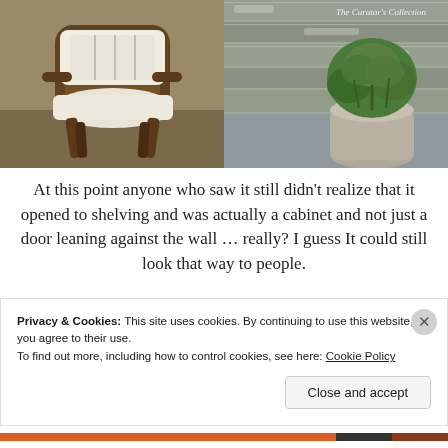[Figure (photo): Left: Antique wooden armchair with white linen cushions/pillows. Right: Weathered grey wooden planks wall with a potted green plant (boxwood) in a stone/concrete pot. The right photo has cursive text overlay reading 'The Curator's Collection'.]
At this point anyone who saw it still didn't realize that it opened to shelving and was actually a cabinet and not just a door leaning against the wall … really?  I guess It could still look that way to people.
Privacy & Cookies: This site uses cookies. By continuing to use this website, you agree to their use.
To find out more, including how to control cookies, see here: Cookie Policy
Close and accept